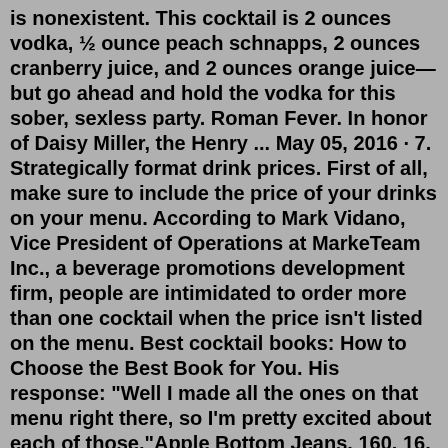is nonexistent. This cocktail is 2 ounces vodka, ½ ounce peach schnapps, 2 ounces cranberry juice, and 2 ounces orange juice—but go ahead and hold the vodka for this sober, sexless party. Roman Fever. In honor of Daisy Miller, the Henry ... May 05, 2016 · 7. Strategically format drink prices. First of all, make sure to include the price of your drinks on your menu. According to Mark Vidano, Vice President of Operations at MarkeTeam Inc., a beverage promotions development firm, people are intimidated to order more than one cocktail when the price isn't listed on the menu. Best cocktail books: How to Choose the Best Book for You. His response: "Well I made all the ones on that menu right there, so I'm pretty excited about each of those."Apple Bottom Jeans. 160. 16. doyouevenbinary • 5 hr. ago. We're throwing a small house party (~20 people) and I'll be running a Tiki-ish open bar! This is the draft menu. Looking for feedback and any advice for my first time bartending. 145. 50. Oct 28, 2014 · For some drinks, the Beaumont Cocktail book lets the garnishes and